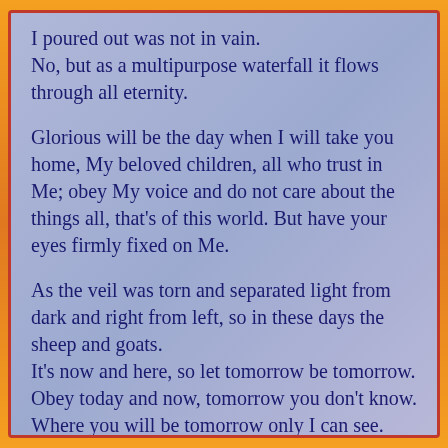I poured out was not in vain.
No, but as a multipurpose waterfall it flows through all eternity.

Glorious will be the day when I will take you home, My beloved children, all who trust in Me; obey My voice and do not care about the things all, that's of this world. But have your eyes firmly fixed on Me.

As the veil was torn and separated light from dark and right from left, so in these days the sheep and goats.
It's now and here, so let tomorrow be tomorrow.
Obey today and now, tomorrow you don't know.
Where you will be tomorrow only I can see.
For you it's not to know how your life will